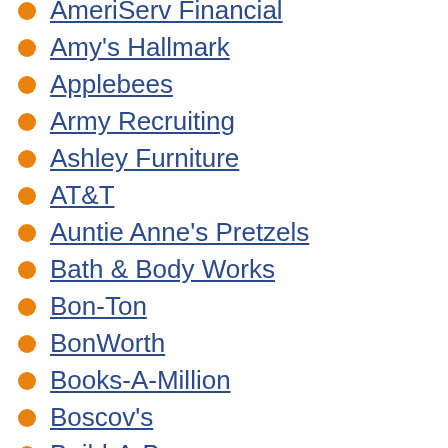AmeriServ Financial
Amy's Hallmark
Applebees
Army Recruiting
Ashley Furniture
AT&T
Auntie Anne's Pretzels
Bath & Body Works
Bon-Ton
BonWorth
Books-A-Million
Boscov's
Build-A-Burger
Bungee Jump
Burger King
C.P. Ceramics
Cell Phone Accessories & Repair
Champs